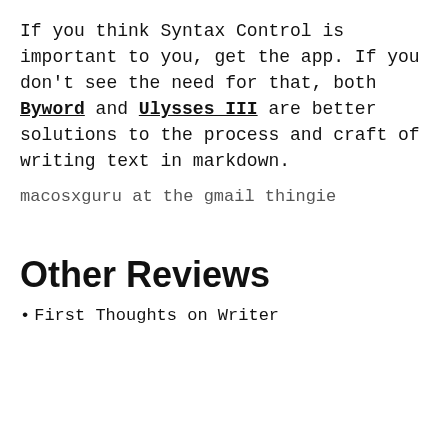If you think Syntax Control is important to you, get the app. If you don't see the need for that, both Byword and Ulysses III are better solutions to the process and craft of writing text in markdown.
macosxguru at the gmail thingie
Other Reviews
First Thoughts on Writer